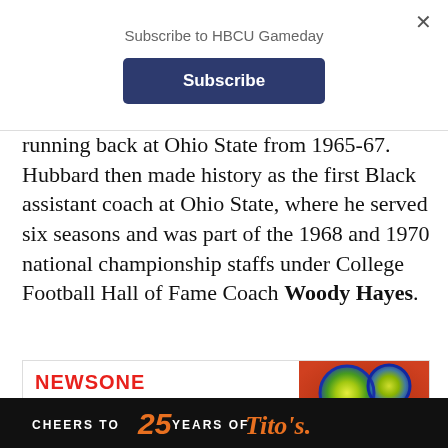Subscribe to HBCU Gameday
running back at Ohio State from 1965-67. Hubbard then made history as the first Black assistant coach at Ohio State, where he served six seasons and was part of the 1968 and 1970 national championship staffs under College Football Hall of Fame Coach Woody Hayes.
[Figure (screenshot): NewsOne article card with virus microscopy image on the right and NEWSONE logo with headline 'What African Americans...' on the left]
[Figure (photo): Tito's Vodka advertisement banner: CHEERS TO 25 YEARS OF Tito's]